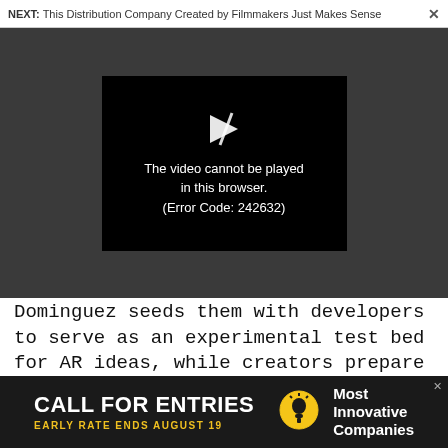NEXT: This Distribution Company Created by Filmmakers Just Makes Sense
[Figure (screenshot): Video player showing error message: The video cannot be played in this browser. (Error Code: 242632)]
Dominguez seeds them with developers to serve as an experimental test bed for AR ideas, while creators prepare themselves for the era when AR headwear might be a useful part of everyday life.
[Figure (infographic): Advertisement banner: CALL FOR ENTRIES - EARLY RATE ENDS AUGUST 19 - Most Innovative Companies]